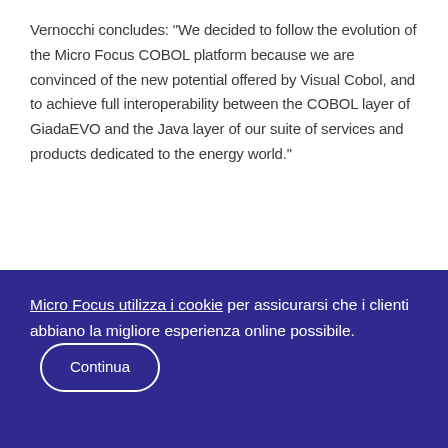Vernocchi concludes: "We decided to follow the evolution of the Micro Focus COBOL platform because we are convinced of the new potential offered by Visual Cobol, and to achieve full interoperability between the COBOL layer of GiadaEVO and the Java layer of our suite of services and products dedicated to the energy world."
Micro Focus utilizza i cookie per assicurarsi che i clienti abbiano la migliore esperienza online possibile. Continua